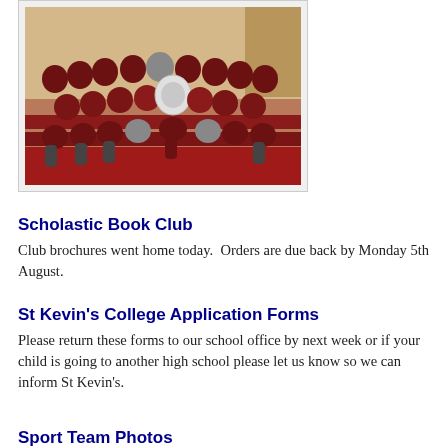[Figure (photo): Group photo of school children in maroon uniforms gathered around a large shield trophy in a school hall.]
Scholastic  Book Club
Club brochures went home today.  Orders are due back by Monday 5th August.
St Kevin's College Application Forms
Please return these forms to our school office by next week or if your child is going to another high school please let us know so we can inform St Kevin's.
Sport Team Photos